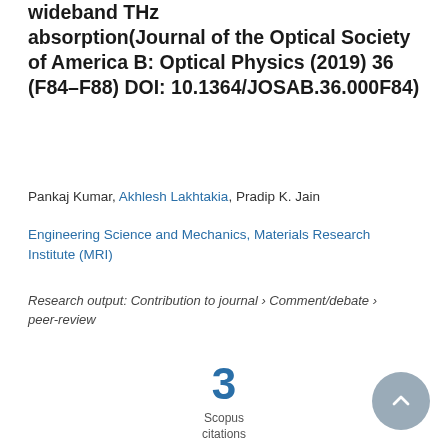wideband THz absorption(Journal of the Optical Society of America B: Optical Physics (2019) 36 (F84–F88) DOI: 10.1364/JOSAB.36.000F84)
Pankaj Kumar, Akhlesh Lakhtakia, Pradip K. Jain
Engineering Science and Mechanics, Materials Research Institute (MRI)
Research output: Contribution to journal › Comment/debate › peer-review
[Figure (infographic): Scopus citations count showing the number 3 in large blue text, with 'Scopus citations' label below]